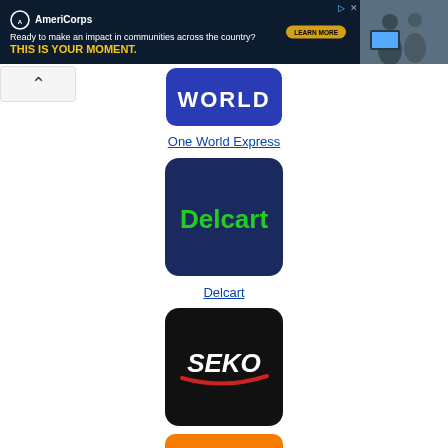[Figure (screenshot): AmeriCorps advertisement banner with dark navy background, logo, tagline text, and a side photo]
[Figure (logo): One World Express logo - blue rounded rectangle with WORLD text]
One World Express
[Figure (logo): Delcart logo - dark navy rounded square with green Delcart text]
Delcart
[Figure (logo): SEKO Logistics logo - black rounded square with white SEKO text and red swoosh]
SEKO Logistics
[Figure (logo): Partial orange logo at bottom, cut off]